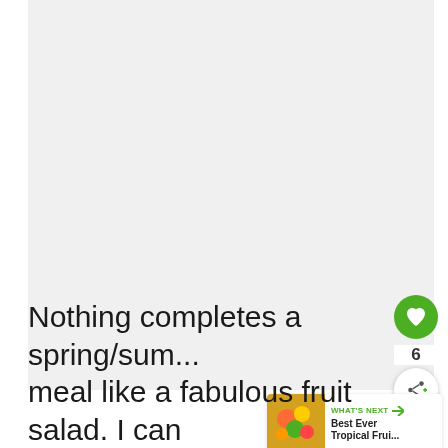[Figure (photo): Large white/light gray image area — appears to be a food photo (fruit salad) that is mostly blank/white in this crop]
[Figure (infographic): UI overlay showing a green heart/like button with count of 6, a share button, and a 'WHAT'S NEXT' card showing 'Best Ever Tropical Frui...' with a thumbnail of a fruit salad]
Nothing completes a spring/sum... meal like a fabulous fruit salad. I can